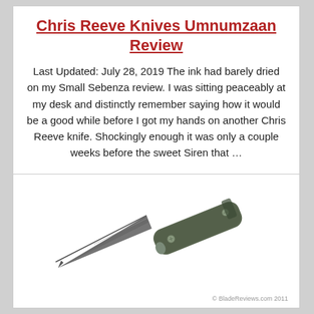Chris Reeve Knives Umnumzaan Review
Last Updated: July 28, 2019 The ink had barely dried on my Small Sebenza review. I was sitting peaceably at my desk and distinctly remember saying how it would be a good while before I got my hands on another Chris Reeve knife. Shockingly enough it was only a couple weeks before the sweet Siren that …
[Figure (photo): Photo of a Chris Reeve Knives Umnumzaan folding knife, shown closed/partially open with a dark gray/olive handle and blade, on a white background. Copyright text reads: © BladeReviews.com 2011]